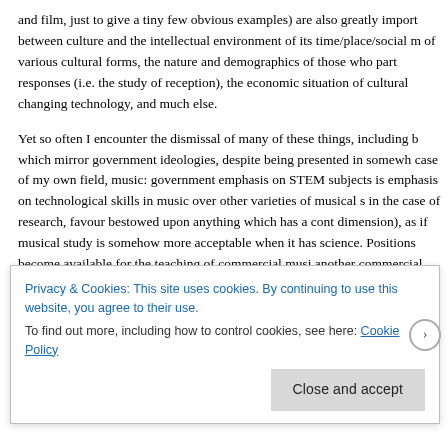and film, just to give a tiny few obvious examples) are also greatly import between culture and the intellectual environment of its time/place/social m of various cultural forms, the nature and demographics of those who par responses (i.e. the study of reception), the economic situation of cultural changing technology, and much else.
Yet so often I encounter the dismissal of many of these things, including b which mirror government ideologies, despite being presented in somewh case of my own field, music: government emphasis on STEM subjects is emphasis on technological skills in music over other varieties of musical s in the case of research, favour bestowed upon anything which has a cont dimension), as if musical study is somehow more acceptable when it has science. Positions become available for the teaching of commercial musi another commercial medium (such as popular film or video games), more requiring expertise in a historical field, or in musical cultures outside of th
Privacy & Cookies: This site uses cookies. By continuing to use this website, you agree to their use.
To find out more, including how to control cookies, see here: Cookie Policy